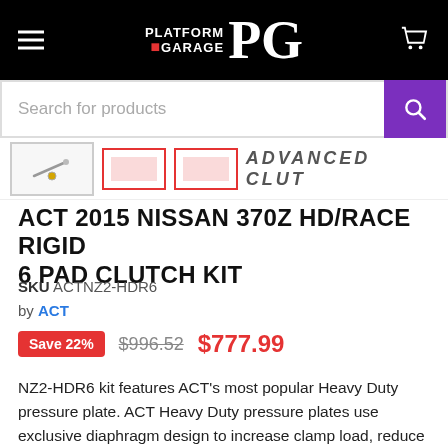Platform Garage PG — navigation header
Search for products
[Figure (screenshot): Product thumbnail strip showing a clutch component thumbnail and ADVANCED CLUT text]
ACT 2015 NISSAN 370Z HD/RACE RIGID 6 PAD CLUTCH KIT
SKU ACTNZ2-HDR6
by ACT
Save 22% $996.52 $777.99
NZ2-HDR6 kit features ACT's most popular Heavy Duty pressure plate. ACT Heavy Duty pressure plates use exclusive diaphragm design to increase clamp load, reduce deflection and maximize clutch life. All diaphragms endure a four-stage, heat-